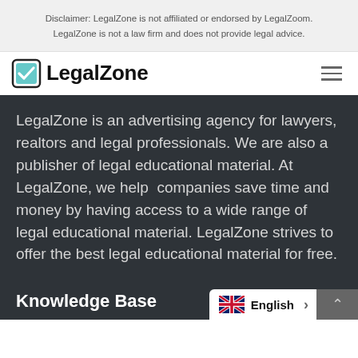Disclaimer: LegalZone is not affiliated or endorsed by LegalZoom. LegalZone is not a law firm and does not provide legal advice.
[Figure (logo): LegalZone logo: a teal checkbox icon followed by bold text 'LegalZone']
LegalZone is an advertising agency for lawyers, realtors and legal professionals. We are also a publisher of legal educational material. At LegalZone, we help companies save time and money by having access to a wide range of legal educational material. LegalZone strives to offer the best legal educational material for free.
Knowledge Base